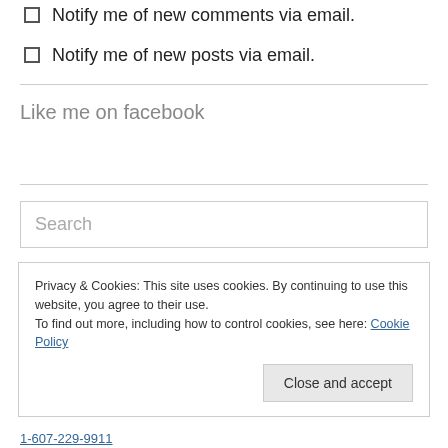Notify me of new comments via email.
Notify me of new posts via email.
Like me on facebook
Search
Privacy & Cookies: This site uses cookies. By continuing to use this website, you agree to their use.
To find out more, including how to control cookies, see here: Cookie Policy
Close and accept
1-607-229-9911